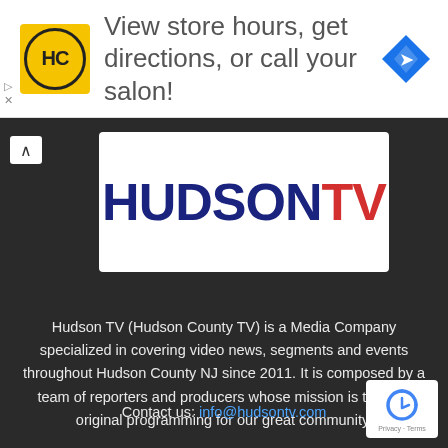[Figure (infographic): Ad banner with HC logo (yellow circle), text 'View store hours, get directions, or call your salon!' and a blue navigation diamond icon]
[Figure (logo): Hudson TV logo: 'HUDSON' in dark navy bold text and 'TV' in red bold text on white background]
Hudson TV (Hudson County TV) is a Media Company specialized in covering video news, segments and events throughout Hudson County NJ since 2011. It is composed by a team of reporters and producers whose mission is to bring original programming for our great community.
Contact us: info@hudsontv.com